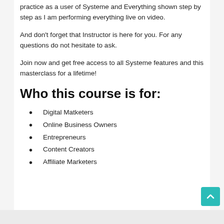practice as a user of Systeme and Everything shown step by step as I am performing everything live on video.
And don't forget that Instructor is here for you. For any questions do not hesitate to ask.
Join now and get free access to all Systeme features and this masterclass for a lifetime!
Who this course is for:
Digital Matketers
Online Business Owners
Entrepreneurs
Content Creators
Affiliate Marketers